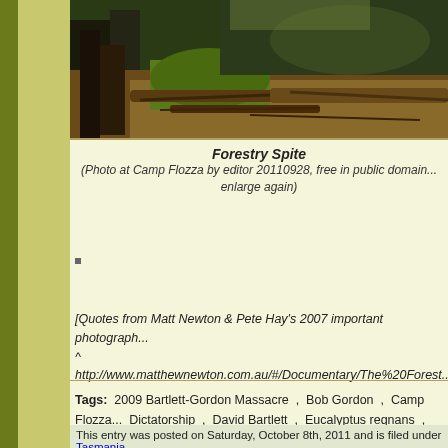[Figure (photo): Photograph of a logged forest area with felled trees, debris, and stumps on a hillside, taken at Camp Flozza]
Forestry Spite
(Photo at Camp Flozza by editor 20110928, free in public domain... enlarge again)
[Quotes from Matt Newton & Pete Hay's 2007 important photograph...
^ http://www.matthewnewton.com.au/#/Documentary/The%20Forest...
Tags: 2009 Bartlett-Gordon Massacre , Bob Gordon , Camp Flozza... Dictatorship , David Bartlett , Eucalyptus regnans , forest exploita... Tasmania , greedy commercial gain , Martin Niemöller , South-W... Wild Still Threatened , Tasmania's holocaust , Tasmania's Thylace... Upper Florentine Forest , utter spite
This entry was posted on Saturday, October 8th, 2011 and is filed under Tasmania...